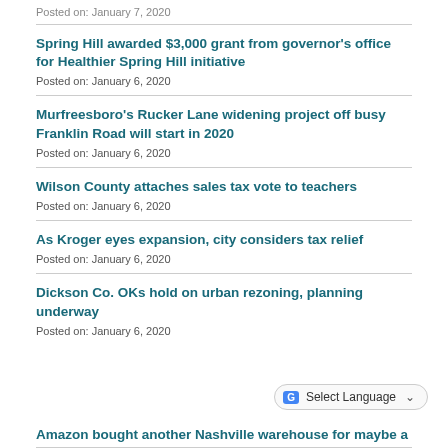Posted on: January 7, 2020
Spring Hill awarded $3,000 grant from governor's office for Healthier Spring Hill initiative
Posted on: January 6, 2020
Murfreesboro's Rucker Lane widening project off busy Franklin Road will start in 2020
Posted on: January 6, 2020
Wilson County attaches sales tax vote to teachers
Posted on: January 6, 2020
As Kroger eyes expansion, city considers tax relief
Posted on: January 6, 2020
Dickson Co. OKs hold on urban rezoning, planning underway
Posted on: January 6, 2020
Amazon bought another Nashville warehouse for maybe a